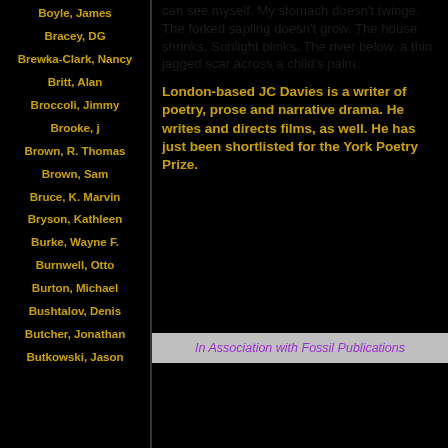Boyle, James
Bracey, DG
Brewka-Clark, Nancy
Britt, Alan
Broccoli, Jimmy
Brooke, j
Brown, R. Thomas
Brown, Sam
Bruce, K. Marvin
Bryson, Kathleen
Burke, Wayne F.
Burnwell, Otto
Burton, Michael
Bushtalov, Denis
Butcher, Jonathan
Butkowski, Jason
can see myself. My stomach doesn't twinge. The forked sapling doesn't grow. The house shrinks. Sunlight blinks. The river below, a thin jagged scar across a child's palm.
London-based JC Davies is a writer of poetry, prose and narrative drama. He writes and directs films, as well. He has just been shortlisted for the York Poetry Prize.
In Association with Fossil Publications